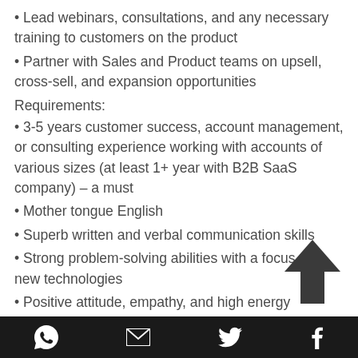• Lead webinars, consultations, and any necessary training to customers on the product
• Partner with Sales and Product teams on upsell, cross-sell, and expansion opportunities
Requirements:
• 3-5 years customer success, account management, or consulting experience working with accounts of various sizes (at least 1+ year with B2B SaaS company) – a must
• Mother tongue English
• Superb written and verbal communication skills
• Strong problem-solving abilities with a focus on new technologies
• Positive attitude, empathy, and high energy
WhatsApp | Email | Twitter | Facebook